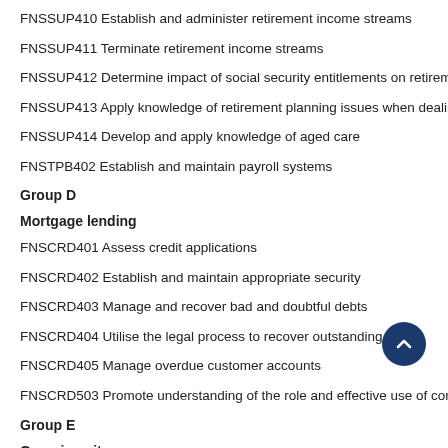FNSSUP410 Establish and administer retirement income streams
FNSSUP411 Terminate retirement income streams
FNSSUP412 Determine impact of social security entitlements on retirement inco…
FNSSUP413 Apply knowledge of retirement planning issues when dealing with c…
FNSSUP414 Develop and apply knowledge of aged care
FNSTPB402 Establish and maintain payroll systems
Group D
Mortgage lending
FNSCRD401 Assess credit applications
FNSCRD402 Establish and maintain appropriate security
FNSCRD403 Manage and recover bad and doubtful debts
FNSCRD404 Utilise the legal process to recover outstanding debt
FNSCRD405 Manage overdue customer accounts
FNSCRD503 Promote understanding of the role and effective use of consumer c…
Group E
Generic units
BSBADM405 Organise meetings